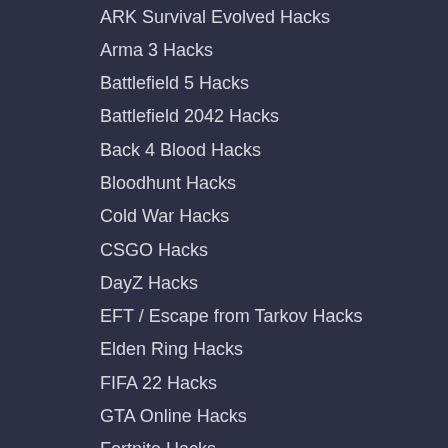ARK Survival Evolved Hacks
Arma 3 Hacks
Battlefield 5 Hacks
Battlefield 2042 Hacks
Back 4 Blood Hacks
Bloodhunt Hacks
Cold War Hacks
CSGO Hacks
DayZ Hacks
EFT / Escape from Tarkov Hacks
Elden Ring Hacks
FIFA 22 Hacks
GTA Online Hacks
Fortnite Hacks
Modern Warfare Hacks
Modern Warfare 2 Hacks
New World Hacks